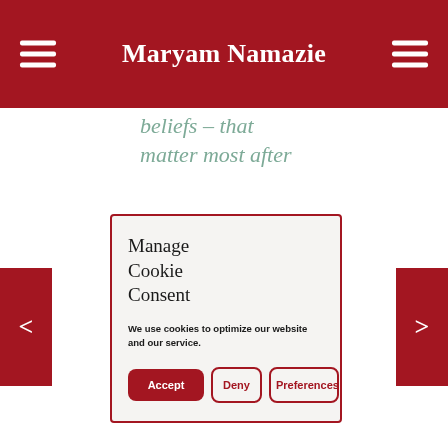Maryam Namazie
beliefs – that matter most after
Manage Cookie Consent
We use cookies to optimize our website and our service.
Accept
Deny
Preferences
Inquisition, and I wish some of the comments above reflected a better